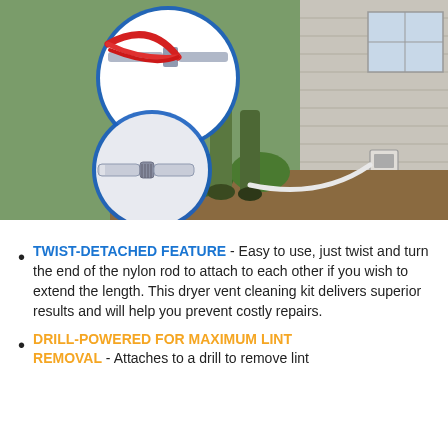[Figure (photo): Outdoor photo showing a person using a dryer vent cleaning kit outside a house. Inset circles show close-up of twist-connect rod connectors — one with a red flexible brush attachment and one showing a metal rod connector piece.]
TWIST-DETACHED FEATURE - Easy to use, just twist and turn the end of the nylon rod to attach to each other if you wish to extend the length. This dryer vent cleaning kit delivers superior results and will help you prevent costly repairs.
DRILL-POWERED FOR MAXIMUM LINT REMOVAL - Attaches to a drill to remove lint